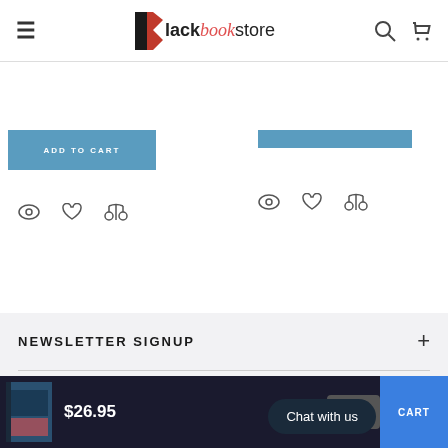Blackbookstore — navigation header with hamburger menu, logo, search and cart icons
[Figure (screenshot): Add to Cart button (blue) on left product panel]
[Figure (screenshot): Blue bar on right product panel with view/wish/compare icons]
NEWSLETTER SIGNUP
[Figure (screenshot): Social media icons: Facebook, Twitter, Instagram, Pinterest]
$26.95 — quantity control — ADD TO CART — Chat with us bubble